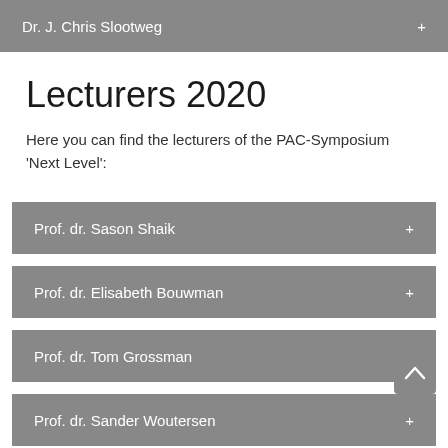Dr. J. Chris Slootweg
Lecturers 2020
Here you can find the lecturers of the PAC-Symposium 'Next Level':
Prof. dr. Sason Shaik
Prof. dr. Elisabeth Bouwman
Prof. dr. Tom Grossman
Prof. dr. Sander Woutersen